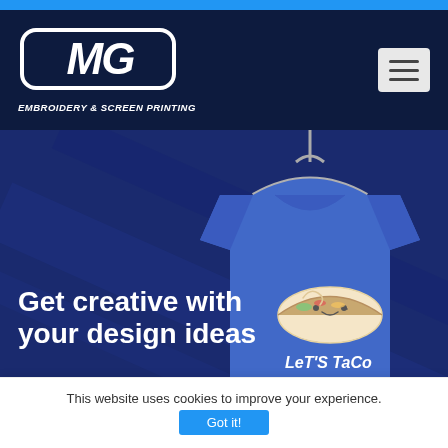[Figure (logo): MG Embroidery & Screen Printing logo - white rounded rectangle with stylized MG letters, dark navy background header with hamburger menu icon]
[Figure (photo): Hero banner showing a royal blue t-shirt on a hanger with a cute taco character design and text 'Let's Taco' on a dark navy diagonal-striped background]
Get creative with your design ideas
This website uses cookies to improve your experience.
Got it!